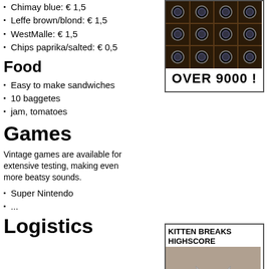Chimay blue: € 1,5
Leffe brown/blond: € 1,5
WestMalle: € 1,5
Chips paprika/salted: € 0,5
[Figure (photo): Box of dark bottles arranged in a grid, with 'OVER 9000 !' text below]
Food
Easy to make sandwiches
10 baggetes
jam, tomatoes
Games
Vintage games are available for extensive testing, making even more beatsy sounds.
Super Nintendo
...
[Figure (photo): Kitten holding a game controller, with caption 'KITTEN BREAKS HIGHSCORE']
Logistics